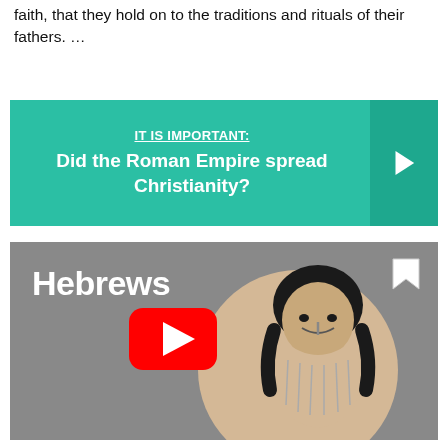faith, that they hold on to the traditions and rituals of their fathers. …
[Figure (infographic): Teal/green banner with text 'IT IS IMPORTANT: Did the Roman Empire spread Christianity?' and a right-pointing chevron arrow on a darker teal background on the right side.]
[Figure (screenshot): YouTube video thumbnail showing a cartoon illustration of a bearded man with the title 'Hebrews' in white text and a YouTube play button overlay in the center. A bookmark icon is in the upper right.]
What is Hebrews about in the Bible?